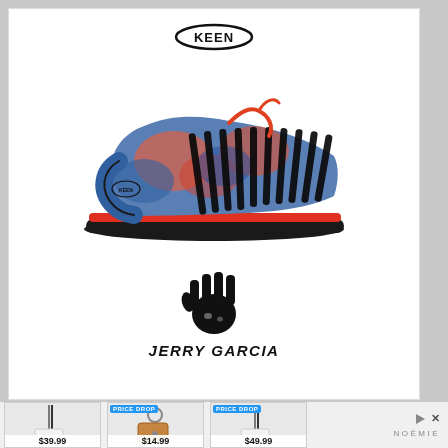[Figure (photo): KEEN brand logo — oval outline with KEEN text inside]
[Figure (photo): KEEN sandal/shoe with colorful tie-dye upper (blue, orange, red), black rubber straps and thick black/red sole, viewed from side]
[Figure (logo): Black hand print logo]
JERRY GARCIA
[Figure (photo): Product: white phone crossbody bag/lanyard, price $39.99]
[Figure (photo): Product: brown leather key fob/pouch with PRICE DROP badge, price $14.99]
[Figure (photo): Product: white phone crossbody bag with PRICE DROP badge, price $49.99]
NOÉMIE